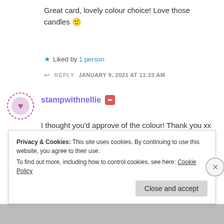Great card, lovely colour choice! Love those candles 🙂
★ Liked by 1 person
↩ REPLY   JANUARY 9, 2021 AT 11:23 AM
stampwithnellie [edit icon]
I thought you'd approve of the colour! Thank you xx
★ Like
Privacy & Cookies: This site uses cookies. By continuing to use this website, you agree to their use.
To find out more, including how to control cookies, see here: Cookie Policy
Close and accept